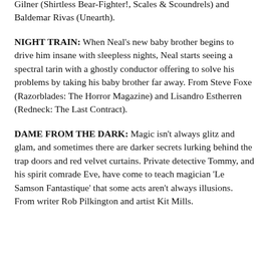Gilner (Shirtless Bear-Fighter!, Scales & Scoundrels) and Baldemar Rivas (Unearth).
NIGHT TRAIN: When Neal's new baby brother begins to drive him insane with sleepless nights, Neal starts seeing a spectral tarin with a ghostly conductor offering to solve his problems by taking his baby brother far away. From Steve Foxe (Razorblades: The Horror Magazine) and Lisandro Estherren (Redneck: The Last Contract).
DAME FROM THE DARK: Magic isn't always glitz and glam, and sometimes there are darker secrets lurking behind the trap doors and red velvet curtains. Private detective Tommy, and his spirit comrade Eve, have come to teach magician 'Le Samson Fantastique' that some acts aren't always illusions. From writer Rob Pilkington and artist Kit Mills.